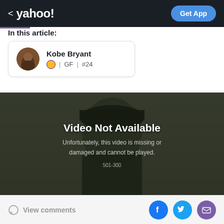< yahoo!  Get App
In this article:
Kobe Bryant | GF | #24
[Figure (screenshot): Video player showing 'Video Not Available' message. Text reads: 'Unfortunately, this video is missing or damaged and cannot be played.' Error code: 501-300]
View comments  [Facebook] [Twitter] [Mail]